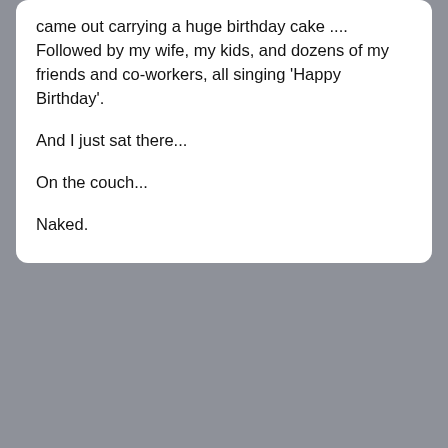came out carrying a huge birthday cake .... Followed by my wife, my kids, and dozens of my friends and co-workers, all singing 'Happy Birthday'.

And I just sat there...

On the couch...

Naked.
[Figure (infographic): Social sharing icons (thumbs up/like, Facebook, Tumblr, Twitter) on left; navigation buttons (OLDER with left diamond, RANDOM with circular arrows, NEWER with right diamond) on right, on a grey background bar]